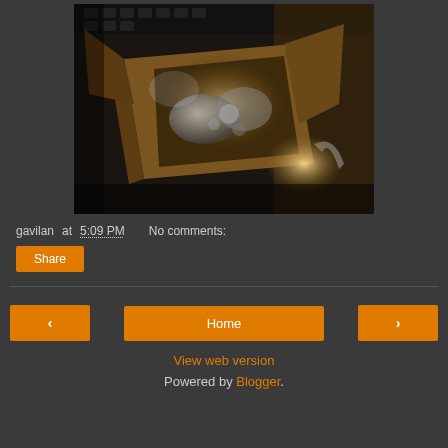[Figure (photo): A photograph of an open cardboard box containing hardware parts (screws, metal components), on a desk with a keyboard visible at the top and a bright light reflection in the lower right.]
gavilan at 5:09 PM   No comments:
Share
‹   Home   ›
View web version
Powered by Blogger.